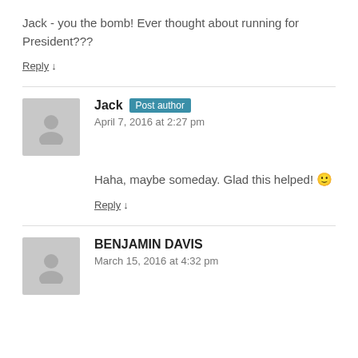Jack - you the bomb! Ever thought about running for President???
Reply ↓
Jack Post author
April 7, 2016 at 2:27 pm
Haha, maybe someday. Glad this helped! 🙂
Reply ↓
BENJAMIN DAVIS
March 15, 2016 at 4:32 pm